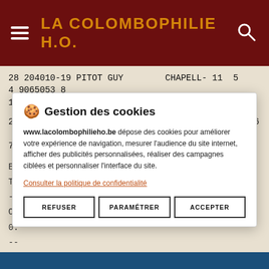LA COLOMBOPHILIE H.O.
28 204010-19 PITOT GUY   CHAPELL- 11  5   4 9065053 8  114221.7 1317,30   28
29 191491-13 GOFFAUX PHILIPPE   RONQUIER 10  6   4 9118426 7 115027.0 1316,17   29
[Figure (screenshot): Cookie consent modal dialog with title 'Gestion des cookies', body text about www.lacolombophilieho.be depositing cookies, a link to privacy policy, and three buttons: REFUSER, PARAMÉTRER, ACCEPTER]